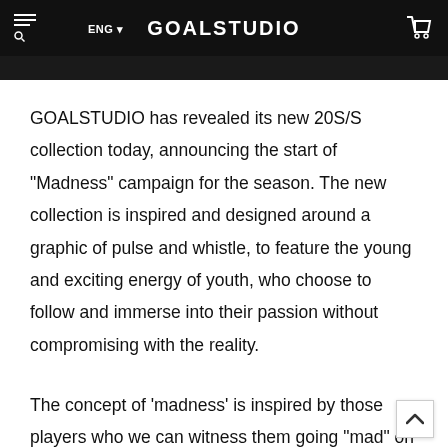GOALSTUDIO
GOALSTUDIO has revealed its new 20S/S collection today, announcing the start of “Madness” campaign for the season. The new collection is inspired and designed around a graphic of pulse and whistle, to feature the young and exciting energy of youth, who choose to follow and immerse into their passion without compromising with the reality.
The concept of ‘madness’ is inspired by those players who we can witness them going “mad” on the pitch while remaining incomparably gentle and friendly outside the